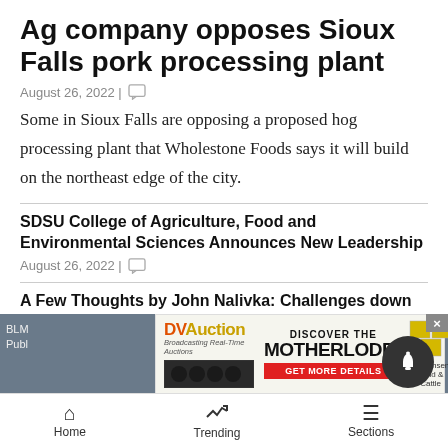Ag company opposes Sioux Falls pork processing plant
August 26, 2022 |
Some in Sioux Falls are opposing a proposed hog processing plant that Wholestone Foods says it will build on the northeast edge of the city.
SDSU College of Agriculture, Food and Environmental Sciences Announces New Leadership
August 26, 2022 |
A Few Thoughts by John Nalivka: Challenges down the beef supply chain
August 26, 2022 |
[Figure (other): DVAuction advertisement - Discover The Motherlode, Jorgensen Land & Cattle]
Home | Trending | Sections